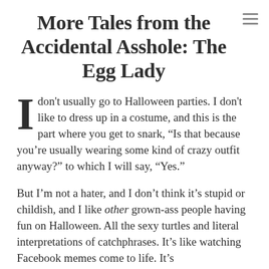More Tales from the Accidental Asshole: The Egg Lady
I don't usually go to Halloween parties. I don't like to dress up in a costume, and this is the part where you get to snark, “Is that because you’re usually wearing some kind of crazy outfit anyway?” to which I will say, “Yes.”
But I’m not a hater, and I don’t think it’s stupid or childish, and I like other grown-ass people having fun on Halloween. All the sexy turtles and literal interpretations of catchphrases. It’s like watching Facebook memes come to life. It’s